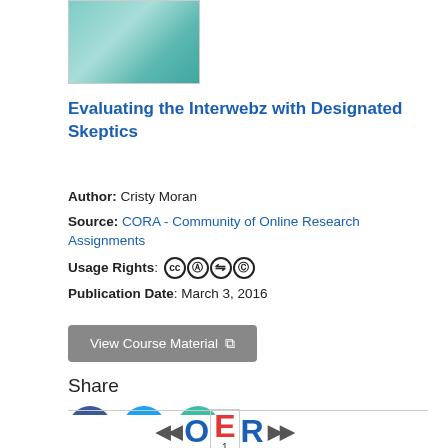[Figure (illustration): Thumbnail image with teal/green abstract background]
Evaluating the Interwebz with Designated Skeptics
Author: Cristy Moran
Source: CORA - Community of Online Research Assignments
Usage Rights: [CC BY-SA icons]
Publication Date: March 3, 2016
View Course Material [external link icon]
Share
[Figure (illustration): Social share icons: Facebook, Twitter, Email]
[Figure (logo): OER logo with left and right arrows: << O E R >>. E is highlighted in red with number 1 below.]